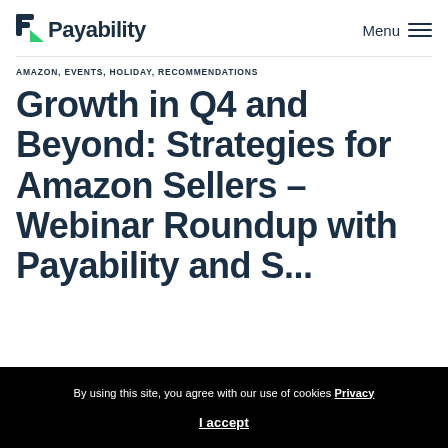Payability — Menu
AMAZON, EVENTS, HOLIDAY, RECOMMENDATIONS
Growth in Q4 and Beyond: Strategies for Amazon Sellers – Webinar Roundup with Payability and OverT...
By using this site, you agree with our use of cookies Privacy
I accept